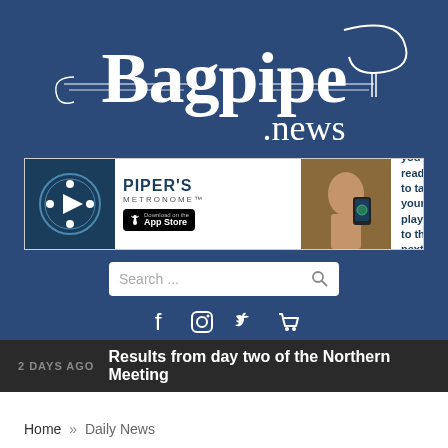[Figure (logo): Bagpipe.news logo — white decorative script text on dark blue background with ornamental lines]
[Figure (infographic): Piper's Metronome advertisement banner showing app icon, name, App Store download button, photo of person holding phone, and text 'Are you ready to take your playing to the next level?']
Search ...
[Figure (infographic): Social media icons: Facebook, Instagram, Twitter, shopping cart]
Send News / Advertise »
2 DAYS AGO   Results from day two of the Northern Meeting
Home » Daily News